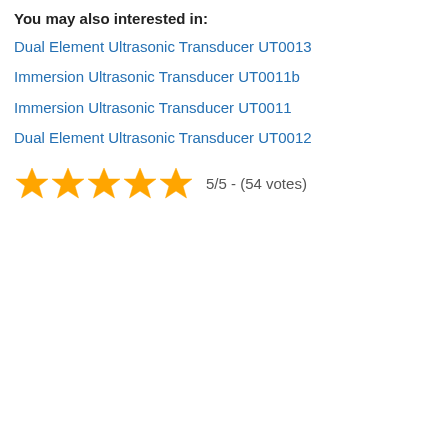You may also interested in:
Dual Element Ultrasonic Transducer UT0013
Immersion Ultrasonic Transducer UT0011b
Immersion Ultrasonic Transducer UT0011
Dual Element Ultrasonic Transducer UT0012
[Figure (infographic): 5 gold stars rating display]
5/5 - (54 votes)